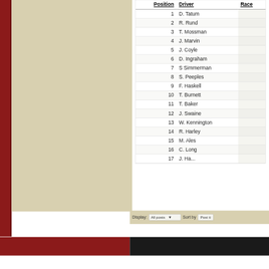| Position | Driver | Race |
| --- | --- | --- |
| 1 | D. Tatum |  |
| 2 | R. Rund |  |
| 3 | T. Mossman |  |
| 4 | J. Marvin |  |
| 5 | J. Coyle |  |
| 6 | D. Ingraham |  |
| 7 | S Simmerman |  |
| 8 | S. Peeples |  |
| 9 | F. Haskell |  |
| 10 | T. Burnett |  |
| 11 | T. Baker |  |
| 12 | J. Swaine |  |
| 13 | W. Kennington |  |
| 14 | R. Harley |  |
| 15 | M. Ales |  |
| 16 | C. Long |  |
| 17 | ... |  |
Display: All posts   Sort by   Post ti...